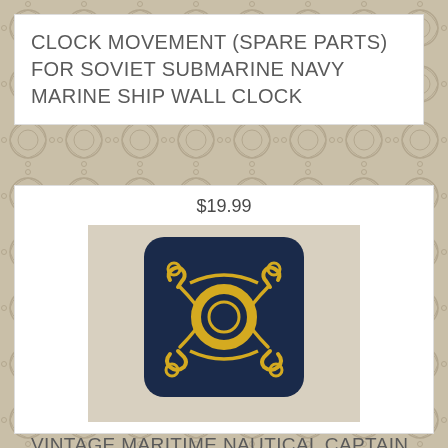CLOCK MOVEMENT (SPARE PARTS) FOR SOVIET SUBMARINE NAVY MARINE SHIP WALL CLOCK
$19.99
[Figure (photo): A dark navy blue square embroidered patch with gold nautical anchors and rope design surrounding a central gold circle, on a light background.]
VINTAGE MARITIME NAUTICAL CAPTAIN OFFICER INSIGNIA EMBROIDERED EMBLEM PATCH ~NOS